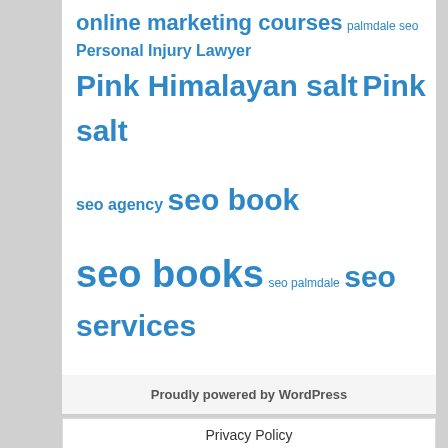online marketing courses palmdale seo Personal Injury Lawyer Pink Himalayan salt Pink salt seo agency seo book seo books seo palmdale seo services services truffle salt truffle sea salt TV mounting Wall web design web design services
[Figure (other): Social media icons: Facebook (blue circle with f), Google+ (red circle with g+), Twitter (light blue circle with bird), Plus/share (dark blue circle with +)]
Proudly powered by WordPress
Privacy Policy